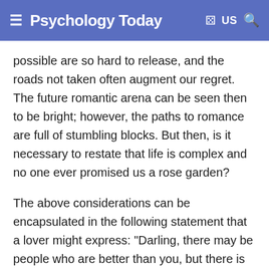Psychology Today
possible are so hard to release, and the roads not taken often augment our regret. The future romantic arena can be seen then to be bright; however, the paths to romance are full of stumbling blocks. But then, is it necessary to restate that life is complex and no one ever promised us a rose garden?
The above considerations can be encapsulated in the following statement that a lover might express: "Darling, there may be people who are better than you, but there is none whom I love so much and whom I always will."